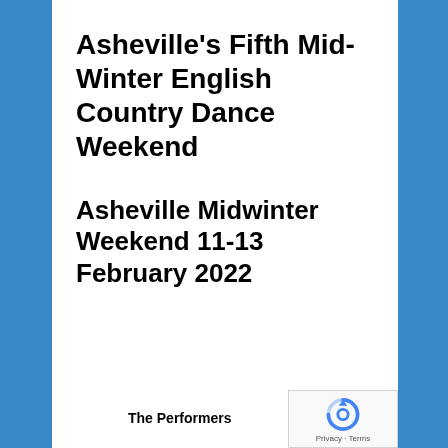Asheville’s Fifth Mid-Winter English Country Dance Weekend
Asheville Midwinter Weekend 11-13 February 2022
The Performers